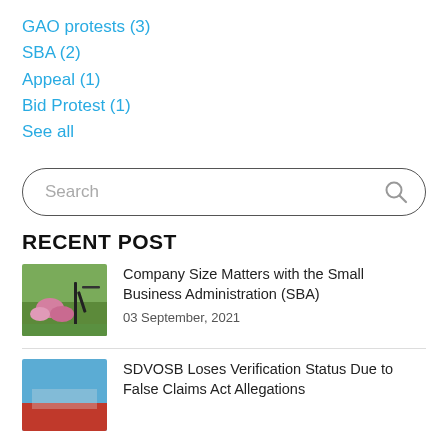GAO protests (3)
SBA (2)
Appeal (1)
Bid Protest (1)
See all
[Figure (other): Search box with rounded border and magnifying glass icon]
RECENT POST
[Figure (photo): Photo of flowers/garden scene with a dark bicycle or garden tool]
Company Size Matters with the Small Business Administration (SBA)
03 September, 2021
[Figure (photo): Photo with blue sky and red element, partially visible]
SDVOSB Loses Verification Status Due to False Claims Act Allegations